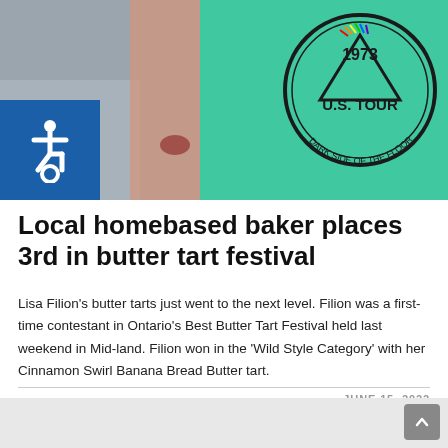[Figure (photo): Photo of a person wearing a teal/green '1973 U.S. Tour Dark Side of the Floor' t-shirt, with an accessibility (wheelchair) icon badge in the upper left corner of the image area.]
Local homebased baker places 3rd in butter tart festival
Lisa Filion's butter tarts just went to the next level. Filion was a first-time contestant in Ontario's Best Butter Tart Festival held last weekend in Mid-land. Filion won in the 'Wild Style Category' with her Cinnamon Swirl Banana Bread Butter tart.
JUNE 15, 2022